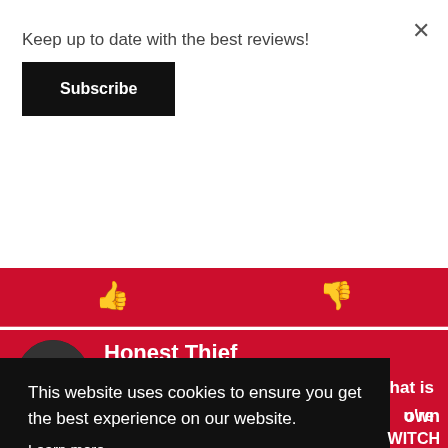Keep up to date with the best reviews!
Subscribe
[Figure (screenshot): Thumbs up and thumbs down icons on a red background banner]
Honest Thief
"'Honest Thief' has an engaging enough ... hat is ... u're ... own ... WITCH
This website uses cookies to ensure you get the best experience on our website.
Learn more
Got it!